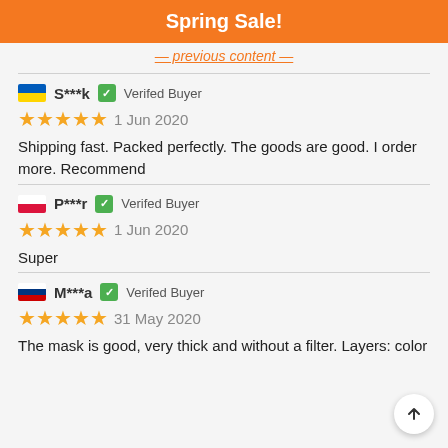Spring Sale!
[previous content truncated]
S***k  ✓ Verifed Buyer
★★★★★  1 Jun 2020
Shipping fast. Packed perfectly. The goods are good. I order more. Recommend
P***r  ✓ Verifed Buyer
★★★★★  1 Jun 2020
Super
M***a  ✓ Verifed Buyer
★★★★★  31 May 2020
The mask is good, very thick and without a filter. Layers: color